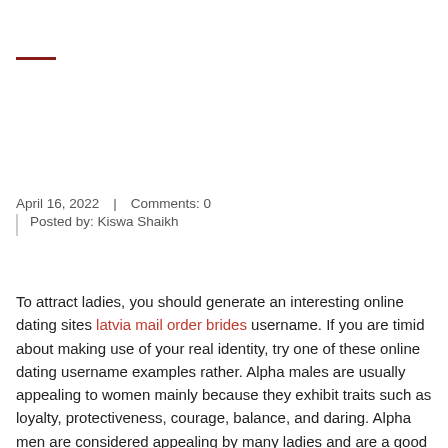April 16, 2022  |  Comments: 0
Posted by: Kiswa Shaikh
To attract ladies, you should generate an interesting online dating sites latvia mail order brides username. If you are timid about making use of your real identity, try one of these online dating username examples rather. Alpha males are usually appealing to women mainly because they exhibit traits such as loyalty, protectiveness, courage, balance, and daring. Alpha men are considered appealing by many ladies and are a good decision for